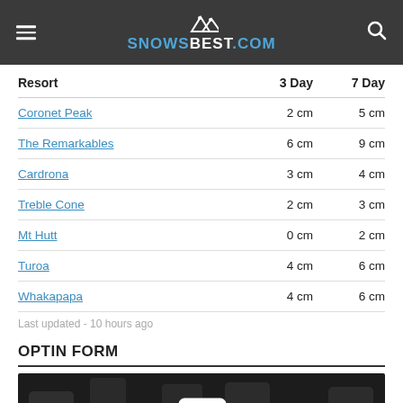SNOWSBEST.COM
| Resort | 3 Day | 7 Day |
| --- | --- | --- |
| Coronet Peak | 2 cm | 5 cm |
| The Remarkables | 6 cm | 9 cm |
| Cardrona | 3 cm | 4 cm |
| Treble Cone | 2 cm | 3 cm |
| Mt Hutt | 0 cm | 2 cm |
| Turoa | 4 cm | 6 cm |
| Whakapapa | 4 cm | 6 cm |
Last updated - 10 hours ago
OPTIN FORM
[Figure (illustration): Dark background with repeating chat bubble icons pattern, one central highlighted chat bubble icon]